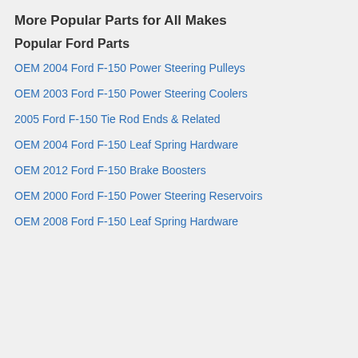More Popular Parts for All Makes
Popular Ford Parts
OEM 2004 Ford F-150 Power Steering Pulleys
OEM 2003 Ford F-150 Power Steering Coolers
2005 Ford F-150 Tie Rod Ends & Related
OEM 2004 Ford F-150 Leaf Spring Hardware
OEM 2012 Ford F-150 Brake Boosters
OEM 2000 Ford F-150 Power Steering Reservoirs
OEM 2008 Ford F-150 Leaf Spring Hardware